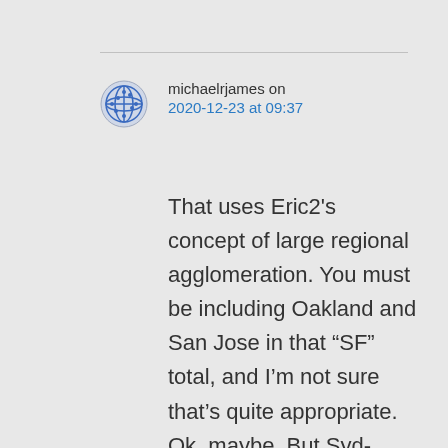michaelrjames on 2020-12-23 at 09:37
That uses Eric2's concept of large regional agglomeration. You must be including Oakland and San Jose in that “SF” total, and I’m not sure that’s quite appropriate. Ok, maybe. But Syd-Melb